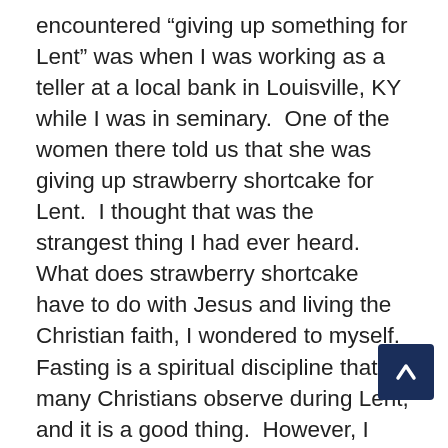encountered “giving up something for Lent” was when I was working as a teller at a local bank in Louisville, KY while I was in seminary.  One of the women there told us that she was giving up strawberry shortcake for Lent.  I thought that was the strangest thing I had ever heard.  What does strawberry shortcake have to do with Jesus and living the Christian faith, I wondered to myself.  Fasting is a spiritual discipline that many Christians observe during Lent, and it is a good thing.  However, I also think that it is far better to contribute something to the world and to our Lord during Lent as well as giving up something.
“Bearing fruit in every good work” is what the Apostle Paul is encouraging the Christians to do.  We have ample opportunities to do that.  Just at Algiers UMC during Lent, we are once again having our Skeeter